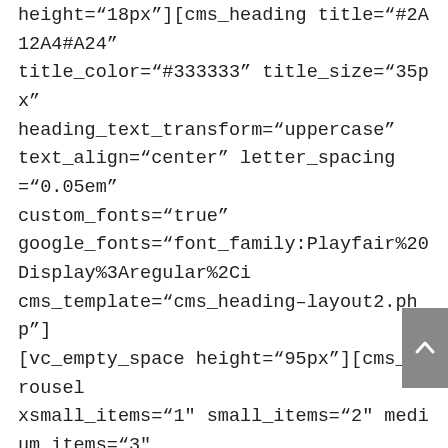height="18px"][cms_heading title="#2A12A4#A24" title_color="#333333" title_size="35px" heading_text_transform="uppercase" text_align="center" letter_spacing="0.05em" custom_fonts="true" google_fonts="font_family:Playfair%20Display%3Aregular%2Ci cms_template="cms_heading-layout2.php"] [vc_empty_space height="95px"][cms_carousel xsmall_items="1" small_items="2" medium_items="3" large_items="3" margin="30" dots="false" autoplay="false" image="256" custom_fonts="true" google_fonts="font_family:Montserrat%3Aregular%2C700|fon nav_style="color-overlay" cms_template="cms_carousel-blog.php" source="size:10|order_by:date|post_type:post"] [/vc_column][/vc_row][vc_row full_width="stretch_row"] [vc_column][cms_heading title="Our Clients" heading_text_transform="uppercase" custom_fonts="true" google_fonts="font_family:Playfair%20Display%3Aregular%2Ci